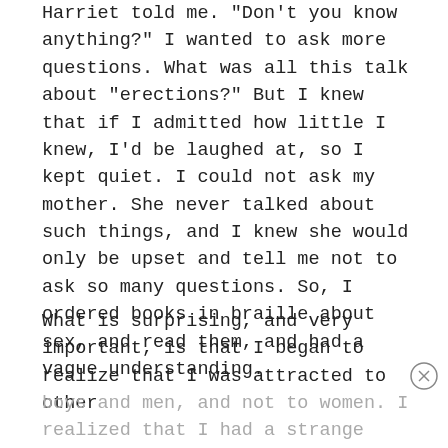Harriet told me. "Don't you know anything?" I wanted to ask more questions. What was all this talk about "erections?" But I knew that if I admitted how little I knew, I'd be laughed at, so I kept quiet. I could not ask my mother. She never talked about such things, and I knew she would only be upset and tell me not to ask so many questions. So, I ordered books in braille about sex, and read them, and had a vague understanding.
What is surprising, and very important, is that I began to realize that I was attracted to other boys and men, and not to women. I realized that I had a strange feeling when close to people of